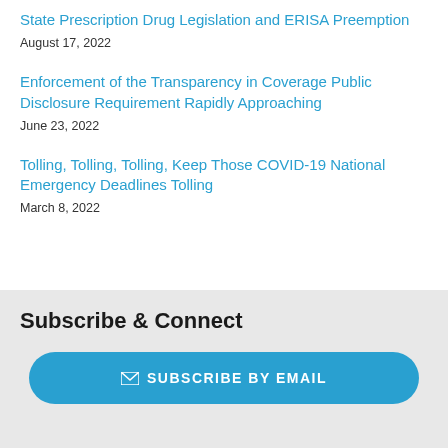State Prescription Drug Legislation and ERISA Preemption
August 17, 2022
Enforcement of the Transparency in Coverage Public Disclosure Requirement Rapidly Approaching
June 23, 2022
Tolling, Tolling, Tolling, Keep Those COVID-19 National Emergency Deadlines Tolling
March 8, 2022
Subscribe & Connect
✉ SUBSCRIBE BY EMAIL